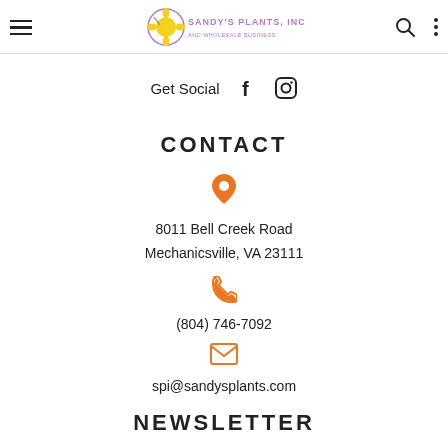Sandy's Plants, Inc.
Get Social
CONTACT
8011 Bell Creek Road
Mechanicsville, VA 23111
(804) 746-7092
spi@sandysplants.com
NEWSLETTER